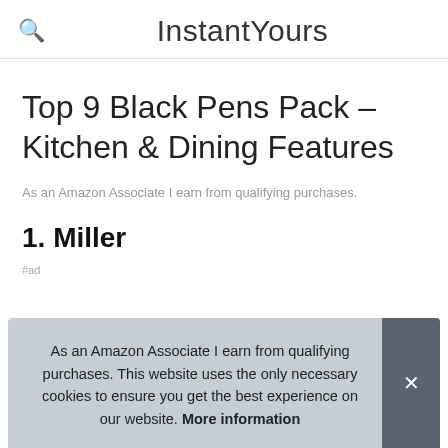InstantYours
Top 9 Black Pens Pack – Kitchen & Dining Features
As an Amazon Associate I earn from qualifying purchases.
1. Miller
#ad
As an Amazon Associate I earn from qualifying purchases. This website uses the only necessary cookies to ensure you get the best experience on our website. More information